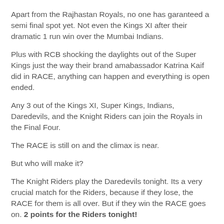Apart from the Rajhastan Royals, no one has garanteed a semi final spot yet. Not even the Kings XI after their dramatic 1 run win over the Mumbai Indians.
Plus with RCB shocking the daylights out of the Super Kings just the way their brand amabassador Katrina Kaif did in RACE, anything can happen and everything is open ended.
Any 3 out of the Kings XI, Super Kings, Indians, Daredevils, and the Knight Riders can join the Royals in the Final Four.
The RACE is still on and the climax is near.
But who will make it?
The Knight Riders play the Daredevils tonight. Its a very crucial match for the Riders, because if they lose, the RACE for them is all over. But if they win the RACE goes on. 2 points for the Riders tonight!
Tomorrow its the Kings XI against the Deccan Chargers. Deccan have hardly won, however with RCB's inspirational victory over CSK last night they could be pumped up to get a